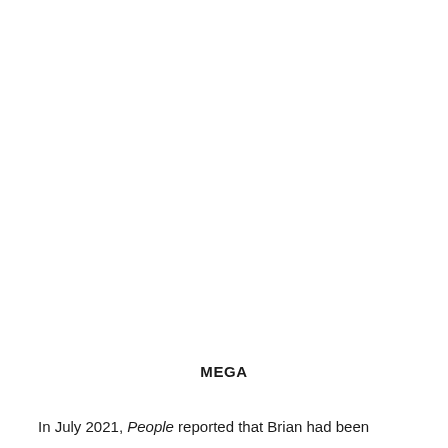MEGA
In July 2021, People reported that Brian had been